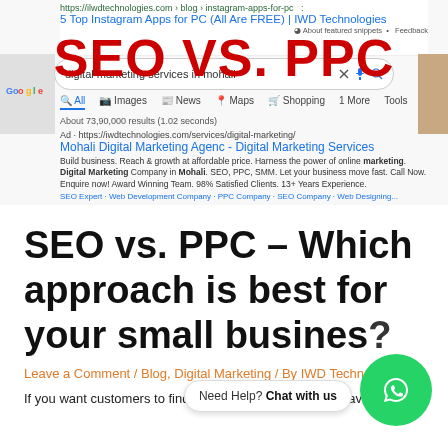[Figure (screenshot): Google search results screenshot showing a search for 'digital marketing services in mohali' with an ad result for 'Mohali Digital Marketing Agenc - Digital Marketing Services' from IWD Technologies, overlaid with large red text 'SEO VS. PPC']
SEO vs. PPC – Which approach is best for your small business?
Leave a Comment / Blog, Digital Marketing / By IWD Technologies
If you want customers to find your business easily, you have two